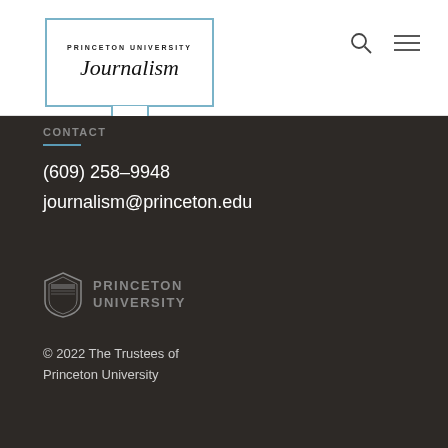[Figure (logo): Princeton University Journalism program logo — open book shape in blue with 'PRINCETON UNIVERSITY' in small caps and 'Journalism' in italic serif below]
[Figure (other): Search icon (magnifying glass) and hamburger menu icon in top right navigation]
CONTACT
(609) 258–9948
journalism@princeton.edu
[Figure (logo): Princeton University shield logo in gray with 'PRINCETON UNIVERSITY' text]
© 2022 The Trustees of Princeton University